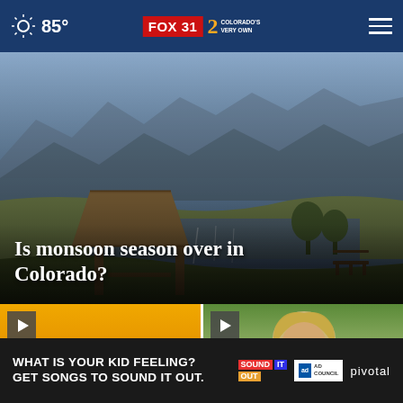85° FOX 31 2 COLORADO'S VERY OWN
[Figure (photo): Scenic Colorado landscape with a lake, mountains in background, a wooden pavilion/gazebo in foreground, benches on right side, twilight/dusk lighting]
Is monsoon season over in Colorado?
[Figure (screenshot): Video thumbnail showing orange/yellow haze cityscape with play button]
[Figure (screenshot): Video thumbnail showing woman with blonde hair outdoors, with a close/X button overlay]
[Figure (other): Advertisement banner: WHAT IS YOUR KID FEELING? GET SONGS TO SOUND IT OUT. Sound It Out logo, Ad Council logo, Pivotal branding]